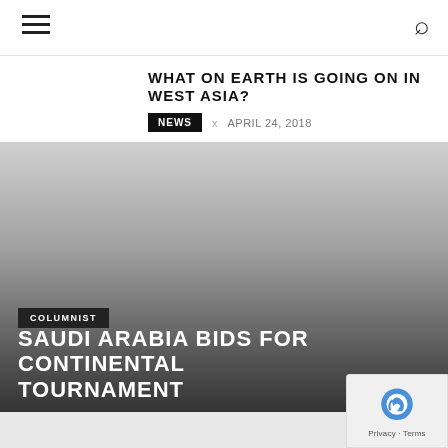Navigation bar with hamburger menu and search icon
WHAT ON EARTH IS GOING ON IN WEST ASIA?
NEWS  x  APRIL 24, 2018
[Figure (photo): Large grayscale image with gradient from light gray at top to dark gray/black at bottom, serving as background for article about Saudi Arabia]
COLUMNIST
SAUDI ARABIA BIDS FOR CONTINENTAL TOURNAMENT